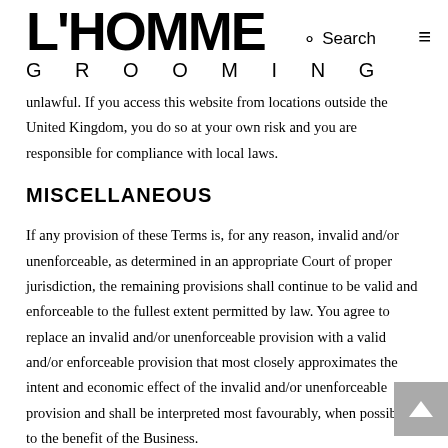L'HOMME GROOMING
unlawful. If you access this website from locations outside the United Kingdom, you do so at your own risk and you are responsible for compliance with local laws.
MISCELLANEOUS
If any provision of these Terms is, for any reason, invalid and/or unenforceable, as determined in an appropriate Court of proper jurisdiction, the remaining provisions shall continue to be valid and enforceable to the fullest extent permitted by law. You agree to replace an invalid and/or unenforceable provision with a valid and/or enforceable provision that most closely approximates the intent and economic effect of the invalid and/or unenforceable provision and shall be interpreted most favourably, when possible, to the benefit of the Business.